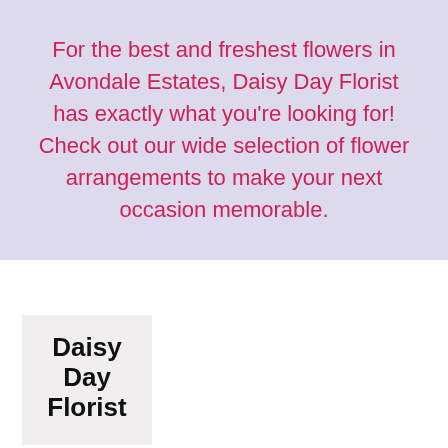For the best and freshest flowers in Avondale Estates, Daisy Day Florist has exactly what you're looking for! Check out our wide selection of flower arrangements to make your next occasion memorable.
[Figure (logo): Daisy Day Florist logo with text 'Daisy Day Florist' on a light gray background]